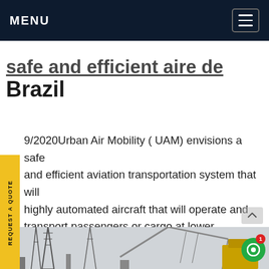MENU
safe and efficient aire de Brazil
9/2020Urban Air Mobility ( UAM) envisions a safe and efficient aviation transportation system that will highly automated aircraft that will operate and transport passengers or cargo at lower altitudes within urban and suburban areas. UAM will be composed of an ecosystem that considers the evolution and safety of the aircraft, the framework Get price
[Figure (photo): Black and white photo of industrial structures including electrical towers and a crane with yellow machinery against a light sky]
REQUEST A QUOTE